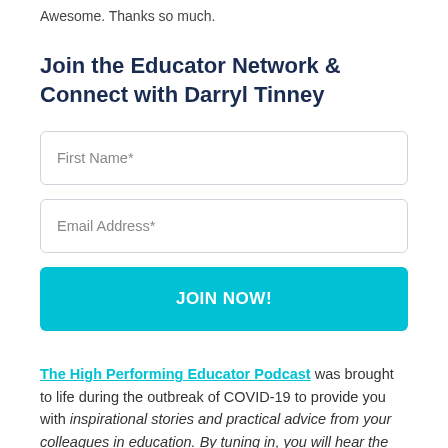Awesome. Thanks so much.
Join the Educator Network & Connect with Darryl Tinney
[Figure (other): Web form with First Name and Email Address input fields and a JOIN NOW! button]
The High Performing Educator Podcast was brought to life during the outbreak of COVID-19 to provide you with inspirational stories and practical advice from your colleagues in education.  By tuning in, you will hear the